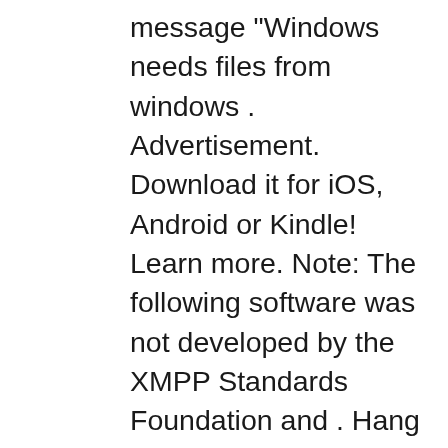message "Windows needs files from windows . Advertisement. Download it for iOS, Android or Kindle! Learn more. Note: The following software was not developed by the XMPP Standards Foundation and . Hang out anytime, anywhere - Messenger makes it easy and fun to stay close to your favorite people. 7,959 downloads Updated: December 10, 2021 Freeware . PC application that